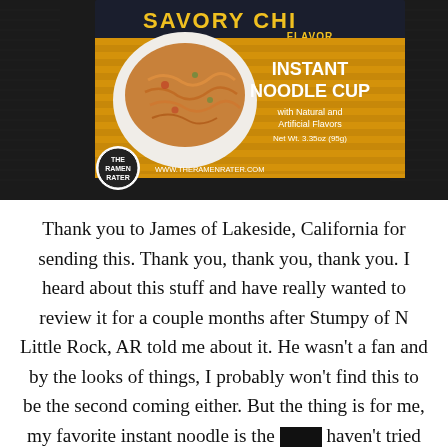[Figure (photo): Photo of a Savory Chicken Flavor Instant Noodle Cup product with yellow and dark packaging, showing noodles in a white bowl. The Ramen Rater logo and www.theramenrater.com watermark visible in bottom left. Dark grid/mesh background.]
Thank you to James of Lakeside, California for sending this. Thank you, thank you, thank you. I heard about this stuff and have really wanted to review it for a couple months after Stumpy of N Little Rock, AR told me about it. He wasn't a fan and by the looks of things, I probably won't find this to be the second coming either. But the thing is for me, my favorite instant noodle is the [one I] haven't tried yet – and this is not only one I've not[tried] but a brand I'm completely unfamiliar with. This is made